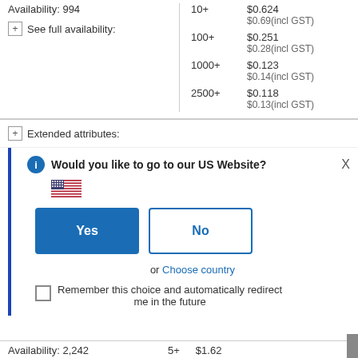Availability: 994
See full availability:
| Qty | Price |
| --- | --- |
| 10+ | $0.624 |
|  | $0.69(incl GST) |
| 100+ | $0.251 |
|  | $0.28(incl GST) |
| 1000+ | $0.123 |
|  | $0.14(incl GST) |
| 2500+ | $0.118 |
|  | $0.13(incl GST) |
Extended attributes:
Would you like to go to our US Website?
Yes
No
or Choose country
Remember this choice and automatically redirect me in the future
Availability: 2,242
5+
$1.62